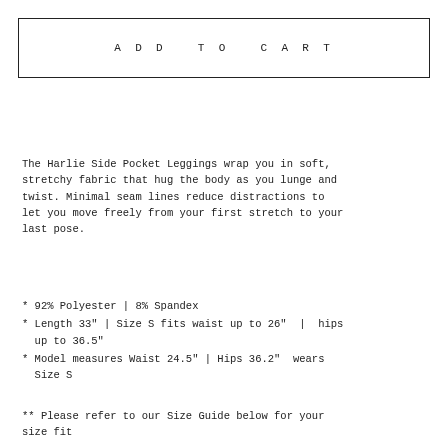ADD TO CART
The Harlie Side Pocket Leggings wrap you in soft, stretchy fabric that hug the body as you lunge and twist. Minimal seam lines reduce distractions to let you move freely from your first stretch to your last pose.
* 92% Polyester | 8% Spandex
* Length 33" | Size S fits waist up to 26" | hips up to 36.5"
* Model measures Waist 24.5" | Hips 36.2"  wears Size S
** Please refer to our Size Guide below for your size fit